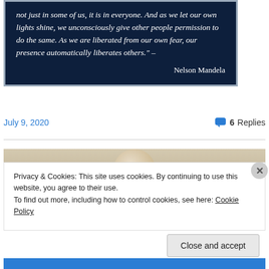[Figure (other): Dark navy blue quote box with silver border containing an italic quote attributed to Nelson Mandela: 'not just in some of us, it is in everyone. And as we let our own lights shine, we unconsciously give other people permission to do the same. As we are liberated from our own fear, our presence automatically liberates others.' – Nelson Mandela]
July 9, 2020
6 Replies
[Figure (photo): Partial photo of a person, mostly cropped, with beige/tan background tones]
Privacy & Cookies: This site uses cookies. By continuing to use this website, you agree to their use.
To find out more, including how to control cookies, see here: Cookie Policy
Close and accept